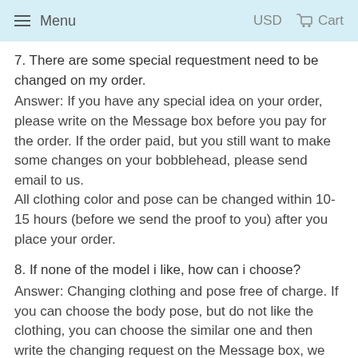≡ Menu   USD   🛒 Cart
7. There are some special requestment need to be changed on my order.
Answer: If you have any special idea on your order, please write on the Message box before you pay for the order. If the order paid, but you still want to make some changes on your bobblehead, please send email to us.
All clothing color and pose can be changed within 10-15 hours (before we send the proof to you) after you place your order.
8. If none of the model i like, how can i choose?
Answer: Changing clothing and pose free of charge. If you can choose the body pose, but do not like the clothing, you can choose the similar one and then write the changing request on the Message box, we would make the bobblehead according to your request.
You also can choose custom from head to toe from production list.